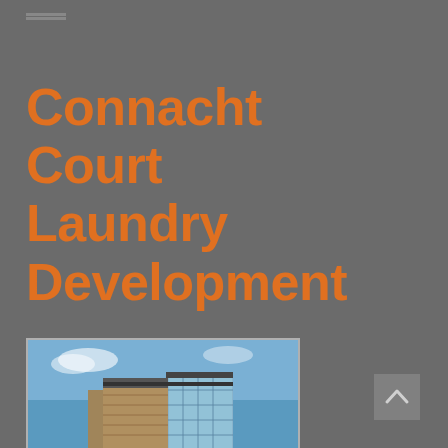Connacht Court Laundry Development
[Figure (photo): Exterior photograph of a modern multi-storey building with stone cladding and glass curtain wall elements under a blue sky]
[Figure (other): Scroll-to-top navigation button (up arrow chevron on grey background)]